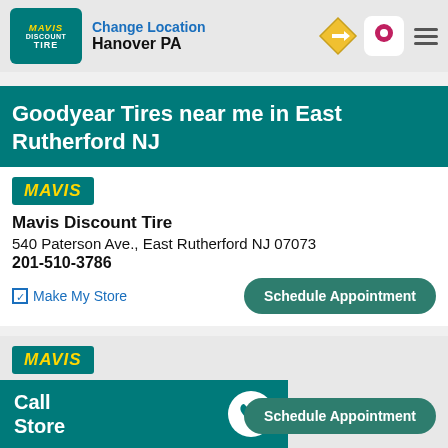Change Location
Hanover PA
Goodyear Tires near me in East Rutherford NJ
[Figure (logo): Mavis Discount Tire logo badge]
Mavis Discount Tire
540 Paterson Ave., East Rutherford NJ 07073
201-510-3786
Make My Store
Schedule Appointment
[Figure (logo): Mavis Discount Tire logo badge]
Mavis Discount Tire
144 Route 46 E, Lodi NJ 07644
973-232-0295
Schedule Appointment
Call
Store